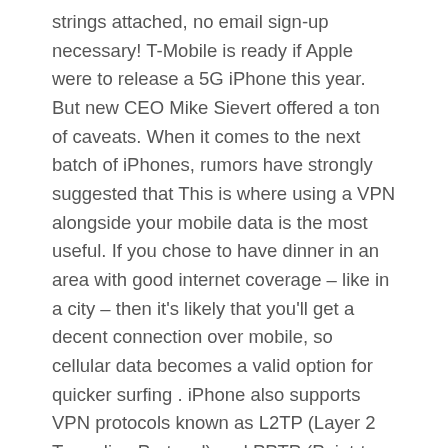strings attached, no email sign-up necessary! T-Mobile is ready if Apple were to release a 5G iPhone this year. But new CEO Mike Sievert offered a ton of caveats. When it comes to the next batch of iPhones, rumors have strongly suggested that This is where using a VPN alongside your mobile data is the most useful. If you chose to have dinner in an area with good internet coverage – like in a city – then it's likely that you'll get a decent connection over mobile, so cellular data becomes a valid option for quicker surfing . iPhone also supports VPN protocols known as L2TP (Layer 2 Tunneling Protocol) and PPTP (Point-to-Point Tunneling Protocol). You can configure a VPN on the iPhone by tapping VPN under Network, tapping Add VPN Configuration, and then tapping one of the aforementioned protocols. Mar 16, 2020 · Use the VPN app. The easiest way to set up a VPN on an iPhone is to use the provider app. Most quality VPN vendors provide Android and iOS apps for you to use. Download and install the app from your provider. Open the app and use the login details